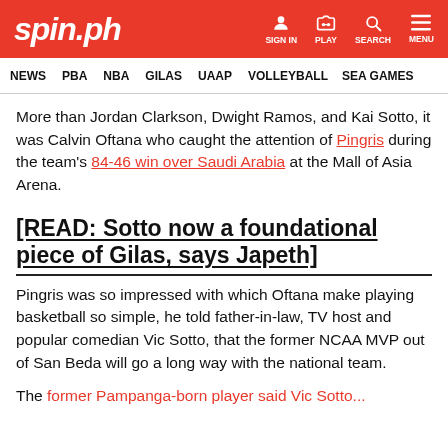spin.ph — SIGN IN  PLAY  SEARCH  MENU
NEWS  PBA  NBA  GILAS  UAAP  VOLLEYBALL  SEA GAMES
More than Jordan Clarkson, Dwight Ramos, and Kai Sotto, it was Calvin Oftana who caught the attention of Pingris during the team's 84-46 win over Saudi Arabia at the Mall of Asia Arena.
[READ: Sotto now a foundational piece of Gilas, says Japeth]
Pingris was so impressed with which Oftana make playing basketball so simple, he told father-in-law, TV host and popular comedian Vic Sotto, that the former NCAA MVP out of San Beda will go a long way with the national team.
The former Pampanga-born player said Vic Sotto...